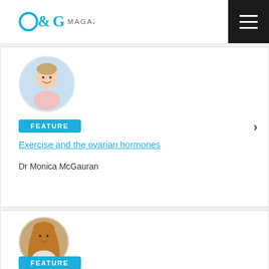O&G MAGAZINE
[Figure (photo): Circular headshot of Dr Monica McGauran against a light blue background]
FEATURE
Exercise and the ovarian hormones
Dr Monica McGauran
[Figure (photo): Circular headshot of a woman with long reddish-blonde hair, smiling]